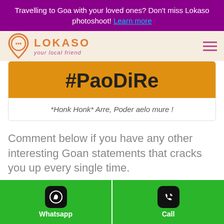Travelling to Goa with your loved ones? Don't miss Lokaso photoshoot! Learn more
[Figure (logo): Lokaso logo with speech bubble icon, brand name LOKASO in orange letters, tagline 'your local friend' in pink italic, on a cream background with pink hamburger menu icon on the right]
[Figure (infographic): Orange banner with large bold text '#PaoDiRe' and italic caption '*Honk Honk* Arre, Poder aelo mure !' below on white background, inside a card with border]
Comment below if you have any other interesting Goan statements that cracks you up every single time.
[Figure (screenshot): Green footer bar with two buttons: Whatsapp (with WhatsApp icon on black rounded square) and Call (with phone icon on black rounded square), separated by a white vertical line]